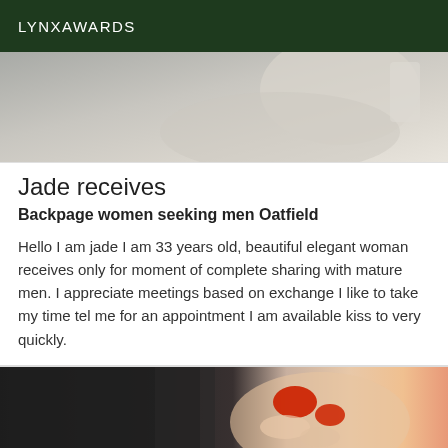LYNXAWARDS
[Figure (photo): Partial photo showing light gray/beige tones, appears to be a cropped body/clothing photo with muted background]
Jade receives
Backpage women seeking men Oatfield
Hello I am jade I am 33 years old, beautiful elegant woman receives only for moment of complete sharing with mature men. I appreciate meetings based on exchange I like to take my time tel me for an appointment I am available kiss to very quickly.
[Figure (photo): Partial photo showing a dark black background on the left with a hand/fingers visible, red/orange painted fingernails prominent on the right side]